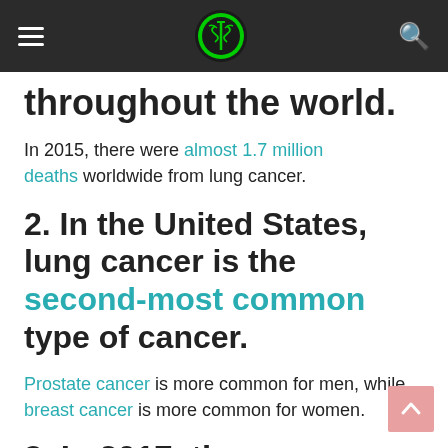≡ [logo] 🔍
throughout the world.
In 2015, there were almost 1.7 million deaths worldwide from lung cancer.
2. In the United States, lung cancer is the second-most common type of cancer.
Prostate cancer is more common for men, while breast cancer is more common for women.
3. In 2017, there were an estimated 222,500 newly